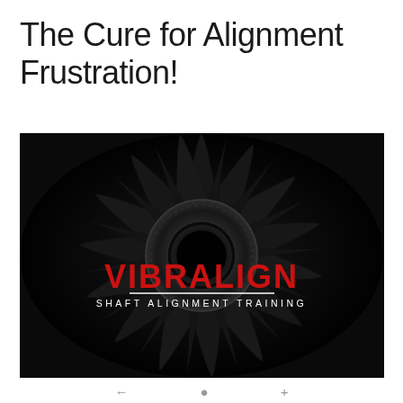The Cure for Alignment Frustration!
[Figure (logo): Dark turbine/jet engine fan blade image viewed from front center, with VIBRALIGN SHAFT ALIGNMENT TRAINING logo overlaid in red and white text on a horizontal rule in the center of the image.]